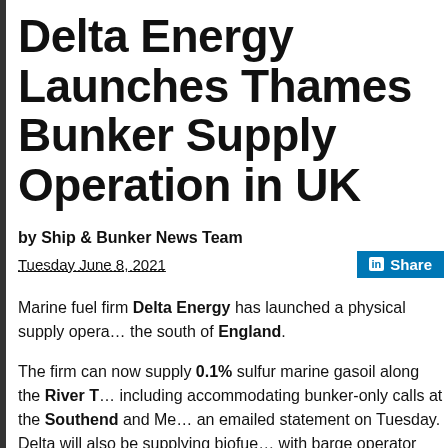Delta Energy Launches Thames Bunker Supply Operation in UK
by Ship & Bunker News Team
Tuesday June 8, 2021
Marine fuel firm Delta Energy has launched a physical supply operation in the south of England.
The firm can now supply 0.1% sulfur marine gasoil along the River T... including accommodating bunker-only calls at the Southend and Me... an emailed statement on Tuesday. Delta will also be supplying biofue... with barge operator GPS Marine.
"Supplies have been carried out for the last 4-5 weeks and the group... increasing month-on-month," the company said.